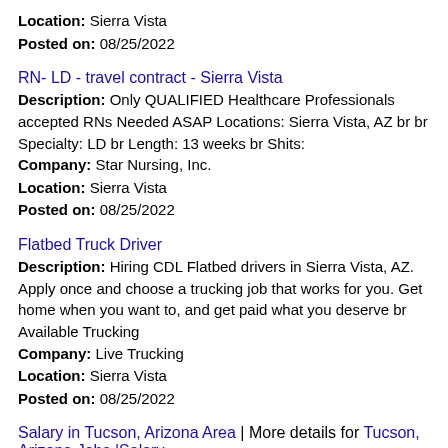Location: Sierra Vista
Posted on: 08/25/2022
RN- LD - travel contract - Sierra Vista
Description: Only QUALIFIED Healthcare Professionals accepted RNs Needed ASAP Locations: Sierra Vista, AZ br br Specialty: LD br Length: 13 weeks br Shits:
Company: Star Nursing, Inc.
Location: Sierra Vista
Posted on: 08/25/2022
Flatbed Truck Driver
Description: Hiring CDL Flatbed drivers in Sierra Vista, AZ. Apply once and choose a trucking job that works for you. Get home when you want to, and get paid what you deserve br Available Trucking
Company: Live Trucking
Location: Sierra Vista
Posted on: 08/25/2022
Salary in Tucson, Arizona Area | More details for Tucson, Arizona Jobs |Salary
FT Customer Service Representative - Work From Home